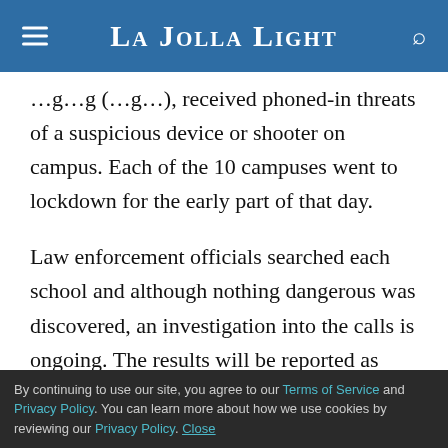La Jolla Light
received phoned-in threats of a suspicious device or shooter on campus. Each of the 10 campuses went to lockdown for the early part of that day.
Law enforcement officials searched each school and although nothing dangerous was discovered, an investigation into the calls is ongoing. The results will be reported as soon as they are available.
“What we experienced that day was unprecedented and highly unusual,” said Linda Zinz, SDUSD communications director. “We have never had 10 schools go on lockdown at the same time for that
By continuing to use our site, you agree to our Terms of Service and Privacy Policy. You can learn more about how we use cookies by reviewing our Privacy Policy. Close